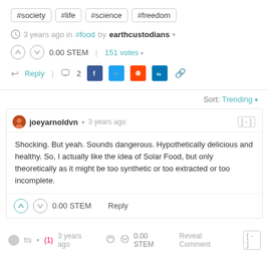#society #life #science #freedom
3 years ago in #food by earthcustodians ▾
0.00 STEM    151 votes ▾
Reply    □ 2   [social share icons]
Sort: Trending ▾
joeyarnoldvn ▾   3 years ago    [-]
Shocking. But yeah. Sounds dangerous. Hypothetically delicious and healthy. So, I actually like the idea of Solar Food, but only theoretically as it might be too synthetic or too extracted or too incomplete.
0.00 STEM    Reply
tts ▾  (1) 3 years ago    0.00 STEM    Reveal Comment    [-]